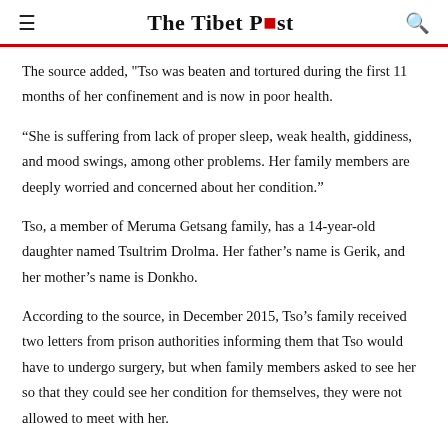The Tibet Post
The source added, "Tso was beaten and tortured during the first 11 months of her confinement and is now in poor health.
“She is suffering from lack of proper sleep, weak health, giddiness, and mood swings, among other problems. Her family members are deeply worried and concerned about her condition.”
Tso, a member of Meruma Getsang family, has a 14-year-old daughter named Tsultrim Drolma. Her father’s name is Gerik, and her mother’s name is Donkho.
According to the source, in December 2015, Tso’s family received two letters from prison authorities informing them that Tso would have to undergo surgery, but when family members asked to see her so that they could see her condition for themselves, they were not allowed to meet with her.